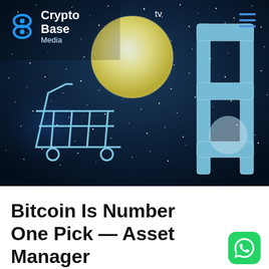[Figure (photo): Night sky scene with stars, a full moon, a large glowing blue Bitcoin symbol, and a shopping cart in the foreground. CryptoBase Media TV logo overlay in top left, hamburger menu icon top right.]
Bitcoin Is Number One Pick — Asset Manager